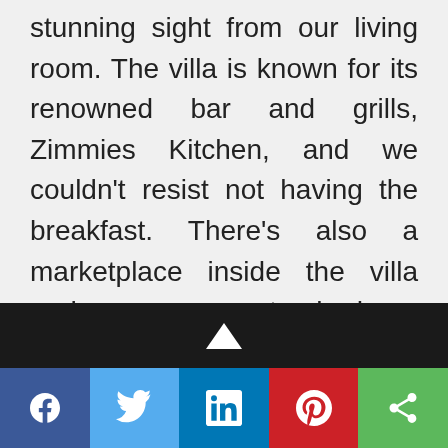stunning sight from our living room. The villa is known for its renowned bar and grills, Zimmies Kitchen, and we couldn't resist not having the breakfast. There's also a marketplace inside the villa and every spot had a complimentary WiFi.
When it came to picking the theme park, our preference had always been both Walt Disney and Universal Studios–but on this trip, we went with Universal Studios
Social share bar: Facebook, Twitter, LinkedIn, Pinterest, Share